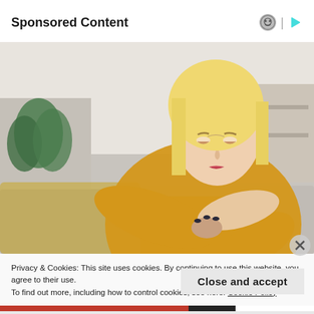Sponsored Content
[Figure (photo): A blonde woman in a yellow knitted sweater sitting on a sofa, looking down and scratching or examining her arm/elbow, with a concerned expression. Indoor setting with plants and a grey couch in background.]
Privacy & Cookies: This site uses cookies. By continuing to use this website, you agree to their use.
To find out more, including how to control cookies, see here: Cookie Policy
Close and accept